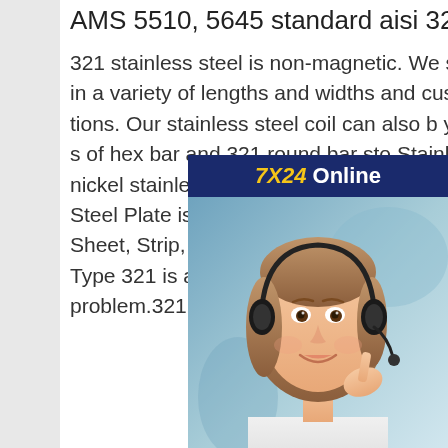AMS 5510, 5645 standard aisi 321 hr stainless plate sheet
321 stainless steel is non-magnetic. We supply 321 stainless steel sheet in a variety of lengths and widths and custom cut to your exact specifications. Our stainless steel coil can also be slit to your desired width. We are also suppliers of hex bar and 321 round bar stock. 321 Stainless Steel Sheet is a chromium nickel stainless-steel and also with enhancement of titanium, 321 Stainless Steel Plate is resistant to intergranular deterioration. SS 321 is offered in Sheet, Strip, Plate, Foil (Shim) in numerous thicknesses. ASTM A240 Type 321 is an excellent choice for applications where temperature is a problem.321 Stainless
[Figure (other): Customer support chat widget showing a female agent with headset, '7X24 Online' header in dark blue with gold text, 'Hello, may I help you?' message, and a 'Get Latest Price' button in yellow.]